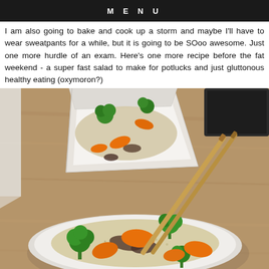MENU
I am also going to bake and cook up a storm and maybe I'll have to wear sweatpants for a while, but it is going to be SOoo awesome. Just one more hurdle of an exam. Here's one more recipe before the fat weekend - a super fast salad to make for potlucks and just gluttonous healthy eating (oxymoron?)
[Figure (photo): A white plate with quinoa salad topped with broccoli florets, sliced carrots, and mushrooms, accompanied by chopsticks. A takeout box with the same food is visible in the background on a wooden surface.]